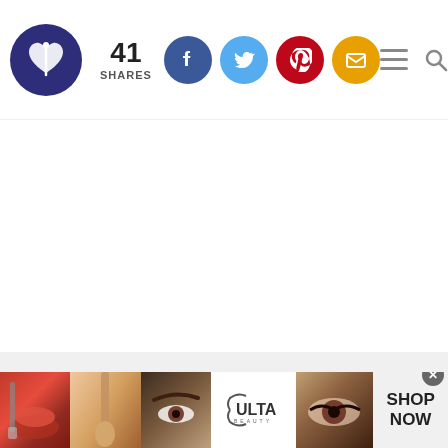Website header with logo, 41 SHARES, social share buttons (Facebook, Twitter, Pinterest, Email), hamburger menu and search icons
[Figure (screenshot): White blank content area]
[Figure (infographic): Advertisement banner at bottom: makeup/beauty images (lips with brush, brush, eye with brow, Ulta Beauty logo, eye close-up) with SHOP NOW text and close button]